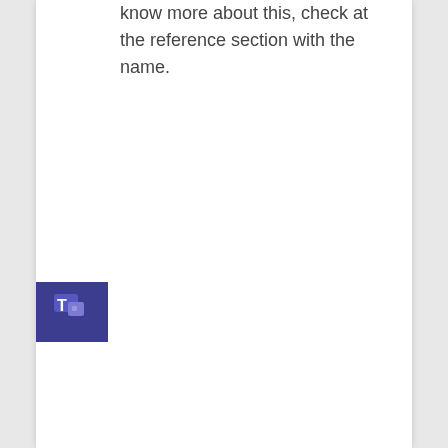know more about this, check at the reference section with the name.
[Figure (logo): Microsoft Teams icon — white 'T' with small colorful squares on a dark indigo/purple background, positioned on the left side of the page]